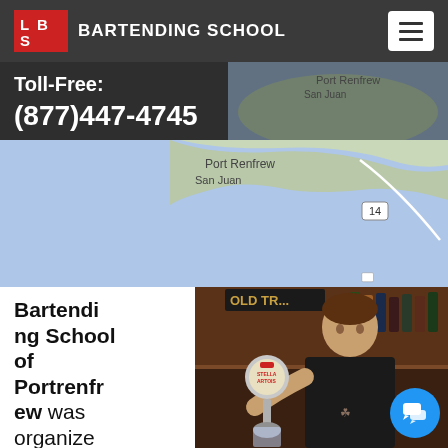LBS BARTENDING SCHOOL
Toll-Free: (877)447-4745
[Figure (map): Google Maps view showing Port Renfrew and San Juan area with water body and highway 14]
[Figure (photo): Bartender pouring beer using a Stella Artois tap at a bar]
Bartending School of Portrenfrew was organized to help teach